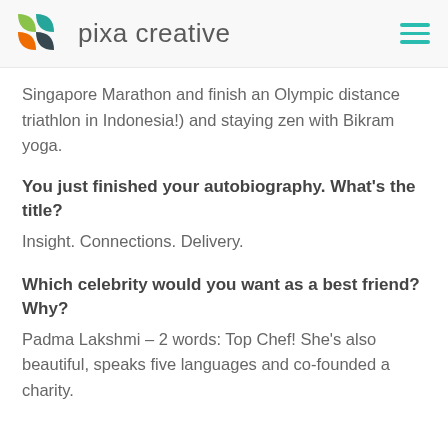pixa creative
Singapore Marathon and finish an Olympic distance triathlon in Indonesia!) and staying zen with Bikram yoga.
You just finished your autobiography. What's the title?
Insight. Connections. Delivery.
Which celebrity would you want as a best friend? Why?
Padma Lakshmi – 2 words: Top Chef! She's also beautiful, speaks five languages and co-founded a charity.